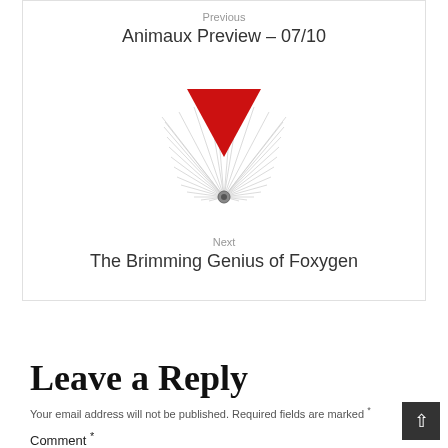Previous
Animaux Preview – 07/10
[Figure (logo): Album artwork showing a red downward-pointing triangle above radiating silver/white feather-like lines, with a small circular element at the bottom center.]
Next
The Brimming Genius of Foxygen
Leave a Reply
Your email address will not be published. Required fields are marked *
Comment *